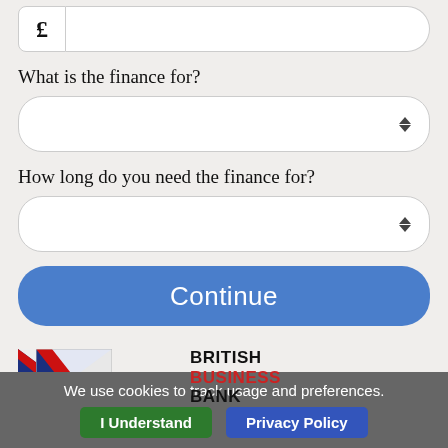[Figure (screenshot): Currency input field with £ symbol on the left and a blank white input on the right]
What is the finance for?
[Figure (screenshot): Dropdown select box for finance purpose with up/down arrows]
How long do you need the finance for?
[Figure (screenshot): Dropdown select box for finance duration with up/down arrows]
[Figure (screenshot): Continue button in blue with white text]
[Figure (logo): British Business Bank logo with Union Jack flag graphic and BRITISH BUSINESS BANK text]
Funding Options has been chosen by
We use cookies to track usage and preferences.
I Understand
Privacy Policy